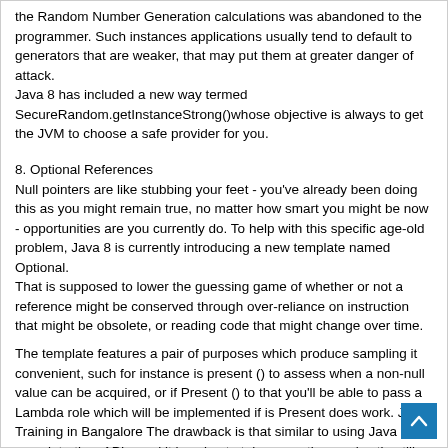the Random Number Generation calculations was abandoned to the programmer. Such instances applications usually tend to default to generators that are weaker, that may put them at greater danger of attack.
Java 8 has included a new way termed SecureRandom.getInstanceStrong()whose objective is always to get the JVM to choose a safe provider for you.
8. Optional References
Null pointers are like stubbing your feet - you've already been doing this as you might remain true, no matter how smart you might be now - opportunities are you currently do. To help with this specific age-old problem, Java 8 is currently introducing a new template named Optional.
That is supposed to lower the guessing game of whether or not a reference might be conserved through over-reliance on instruction that might be obsolete, or reading code that might change over time.
The template features a pair of purposes which produce sampling it convenient, such for instance is present () to assess when a non-null value can be acquired, or if Present () to that you'll be able to pass a Lambda role which will be implemented if is Present does work. Java Training in Bangalore The drawback is that similar to using Java 8 new date-time APIs, and it is going to take some time and action till this layout takes grip and can be absorbed into the libraries we all utilize and design regularly.
Author's Bio: